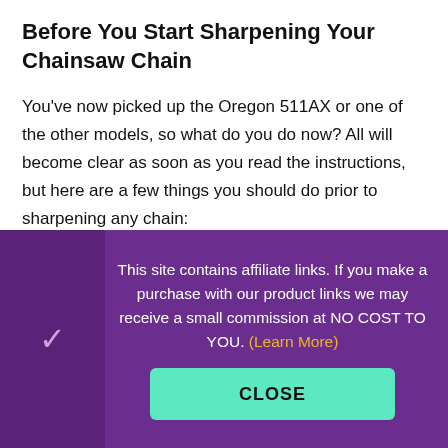Before You Start Sharpening Your Chainsaw Chain
You've now picked up the Oregon 511AX or one of the other models, so what do you do now? All will become clear as soon as you read the instructions, but here are a few things you should do prior to sharpening any chain:
This site contains affiliate links. If you make a purchase with our product links we may receive a small commission at NO COST TO YOU. (Learn More)
CLOSE